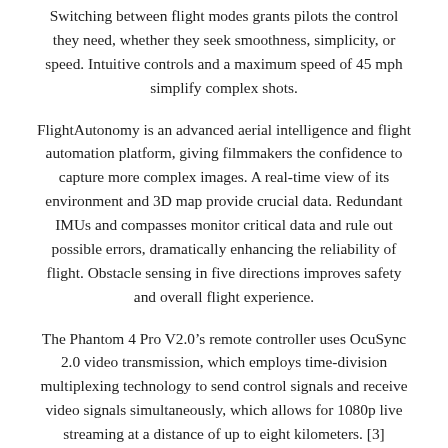Switching between flight modes grants pilots the control they need, whether they seek smoothness, simplicity, or speed. Intuitive controls and a maximum speed of 45 mph simplify complex shots.
FlightAutonomy is an advanced aerial intelligence and flight automation platform, giving filmmakers the confidence to capture more complex images. A real-time view of its environment and 3D map provide crucial data. Redundant IMUs and compasses monitor critical data and rule out possible errors, dramatically enhancing the reliability of flight. Obstacle sensing in five directions improves safety and overall flight experience.
The Phantom 4 Pro V2.0’s remote controller uses OcuSync 2.0 video transmission, which employs time-division multiplexing technology to send control signals and receive video signals simultaneously, which allows for 1080p live streaming at a distance of up to eight kilometers. [3] Supporting both 2.4 GHz and 5.8 GHz, OcuSync 2.0 scans for the frequency band with the lowest interference and switches accordingly to maintain clear transmission. Thanks to OcuSync 2.0, the Phantom 4 Pro V2.0 connects wirelessly to the DJI